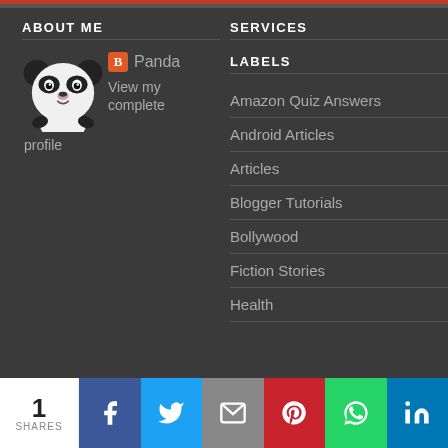ABOUT ME
[Figure (illustration): Cartoon panda bear logo with Blogger icon and name 'Panda', plus 'View my complete profile' text]
SERVICES
LABELS
Amazon Quiz Answers
Android Articles
Articles
Blogger Tutorials
Bollywood
Fiction Stories
Health
1 SHARES | Facebook | Twitter | Email | Pinterest | WhatsApp | LinkedIn